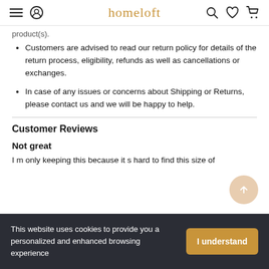homeloft
product(s).
Customers are advised to read our return policy for details of the return process, eligibility, refunds as well as cancellations or exchanges.
In case of any issues or concerns about Shipping or Returns, please contact us and we will be happy to help.
Customer Reviews
Not great
I m only keeping this because it s hard to find this size of
This website uses cookies to provide you a personalized and enhanced browsing experience
I understand